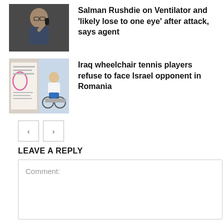[Figure (photo): Photo of Salman Rushdie speaking into microphone]
Salman Rushdie on Ventilator and 'likely lose to one eye' after attack, says agent
[Figure (photo): Two images: a notice board with a pink circled item, and a wheelchair tennis player]
Iraq wheelchair tennis players refuse to face Israel opponent in Romania
< >
LEAVE A REPLY
Comment: